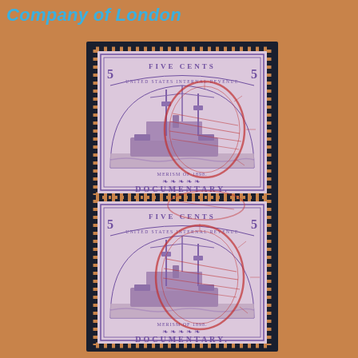Company of London
[Figure (photo): A vertical pair of United States five cents documentary revenue stamps, purple/violet color, depicting a battleship ('MERISM OF 1898'), inscribed 'FIVE CENTS', 'UNITED STATES INTERNAL REVENUE', 'DOCUMENTARY', both stamps cancelled with red oval cancellation marks, shown on a dark card/mount against a tan/brown background.]